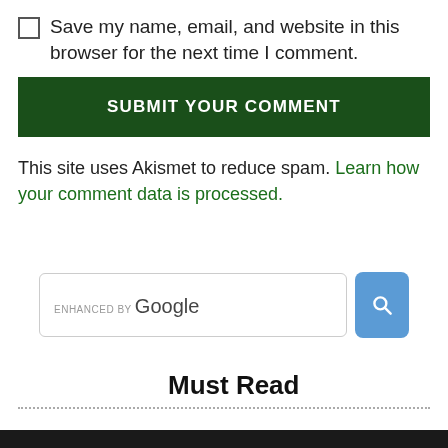Save my name, email, and website in this browser for the next time I comment.
SUBMIT YOUR COMMENT
This site uses Akismet to reduce spam. Learn how your comment data is processed.
[Figure (other): Enhanced by Google search bar with a blue search button containing a magnifying glass icon]
Must Read